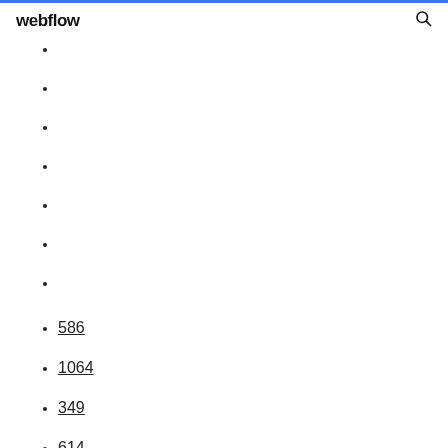webflow
586
1064
349
614
1113
619